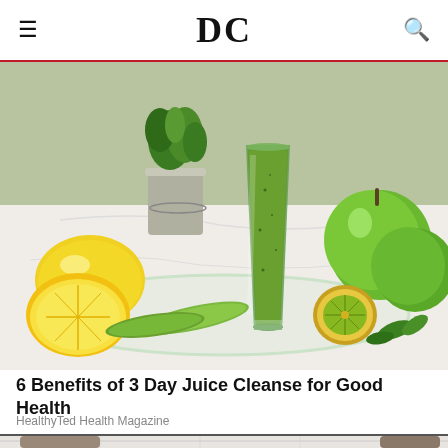DC
[Figure (photo): Green juice smoothie in a tall glass on a glass plate, surrounded by lemons, cucumber slices, green apples, kiwi, and fresh herbs in a silver cup on a white marble surface.]
6 Benefits of 3 Day Juice Cleanse for Good Health
HealthyTed Health Magazine
[Figure (photo): A cat drinking or looking at water from a faucet or bowl in a bathroom with white subway tiles.]